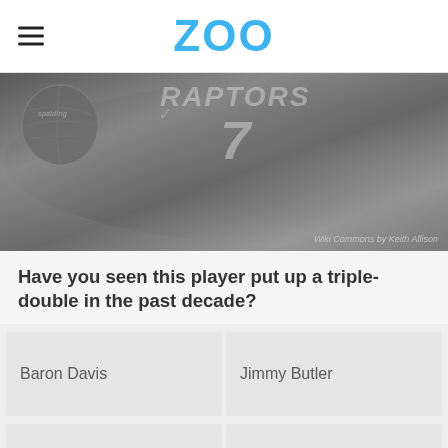ZOO
[Figure (photo): Grayscale photo of a Toronto Raptors basketball player wearing jersey number 7, holding a basketball. Attribution: Wiki Commons by Keith Allison]
Wiki Commons by Keith Allison
Have you seen this player put up a triple-double in the past decade?
Baron Davis
Jimmy Butler
Wes Unseld
Kyle Lowry